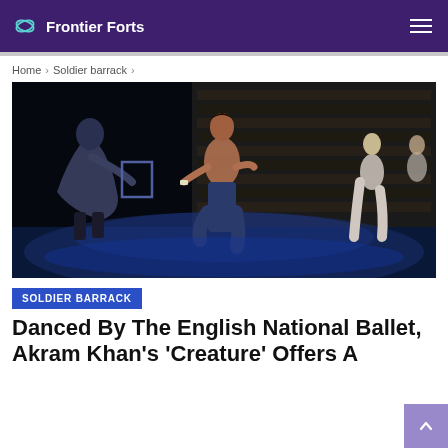Frontier Forts
Home > Soldier barrack >
[Figure (photo): Stage performance photo showing ballet dancers on a dark stage with wooden backdrop. A figure in a long coat crouches on the left, a shirtless male dancer runs in the center, and two other dancers appear on the right in blue-tinted theatrical lighting.]
SOLDIER BARRACK
Danced By The English National Ballet, Akram Khan's 'Creature' Offers A